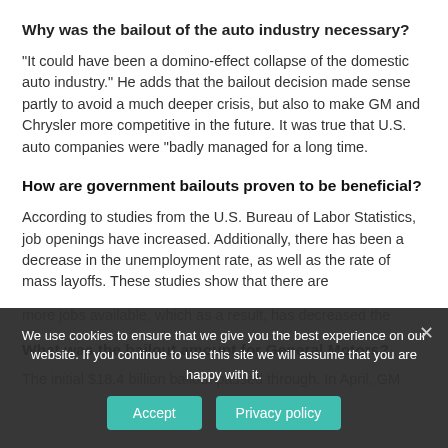Why was the bailout of the auto industry necessary?
“It could have been a domino-effect collapse of the domestic auto industry.” He adds that the bailout decision made sense partly to avoid a much deeper crisis, but also to make GM and Chrysler more competitive in the future. It was true that U.S. auto companies were “badly managed for a long time.
How are government bailouts proven to be beneficial?
According to studies from the U.S. Bureau of Labor Statistics, job openings have increased. Additionally, there has been a decrease in the unemployment rate, as well as the rate of mass layoffs. These studies show that there are more jobs available, which as a result, has decreased the...
What was the bailout amount for General Motors?
The initial $18.4 billion bailout passed through. In April, GM...
We use cookies to ensure that we give you the best experience on our website. If you continue to use this site we will assume that you are happy with it.